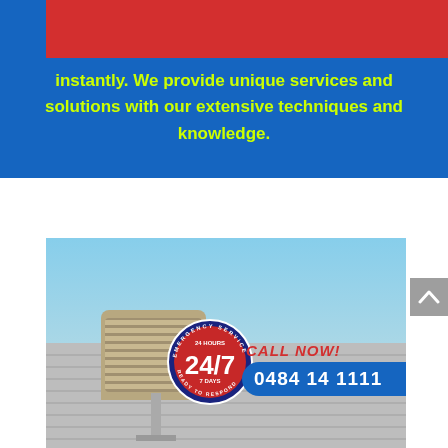instantly. We provide unique services and solutions with our extensive techniques and knowledge.
[Figure (photo): Photo of a rooftop HVAC/evaporative cooler unit against a blue sky, with a '24/7 Emergency Service Ready to Respond' badge and a 'CALL NOW! 0484 14 1111' button overlaid on the image.]